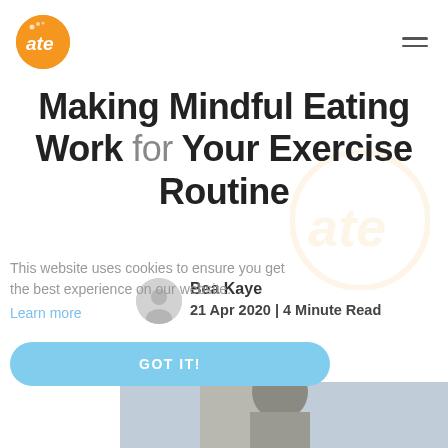ate (logo)
Making Mindful Eating Work for Your Exercise Routine
This website uses cookies to ensure you get the best experience on our website.
Learn more
GOT IT!
Bea Kaye
21 Apr 2020 | 4 Minute Read
[Figure (photo): Partial photo of a person at the bottom of the page]